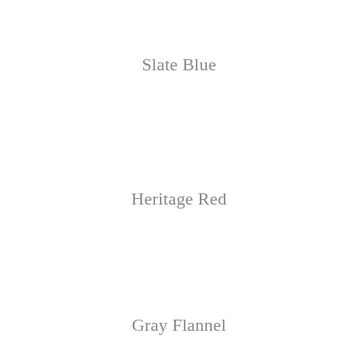Slate Blue
Heritage Red
Gray Flannel